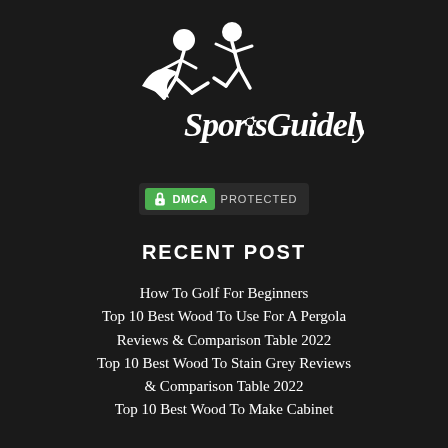[Figure (logo): SportsGuidely logo with two soccer player silhouettes and stylized script text 'SportsGuidely' in white on dark background]
[Figure (other): DMCA Protected badge with green DMCA label and lock icon on dark background]
RECENT POST
How To Golf For Beginners
Top 10 Best Wood To Use For A Pergola Reviews & Comparison Table 2022
Top 10 Best Wood To Stain Grey Reviews & Comparison Table 2022
Top 10 Best Wood To Make Cabinet